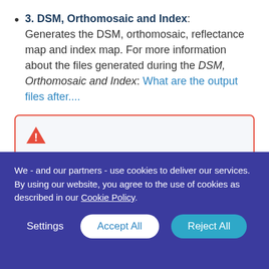3. DSM, Orthomosaic and Index: Generates the DSM, orthomosaic, reflectance map and index map. For more information about the files generated during the DSM, Orthomosaic and Index: What are the output files after....
Warning: When reprocessing this step, the existing outputs of this step are deleted and
We - and our partners - use cookies to deliver our services. By using our website, you agree to the use of cookies as described in our Cookie Policy